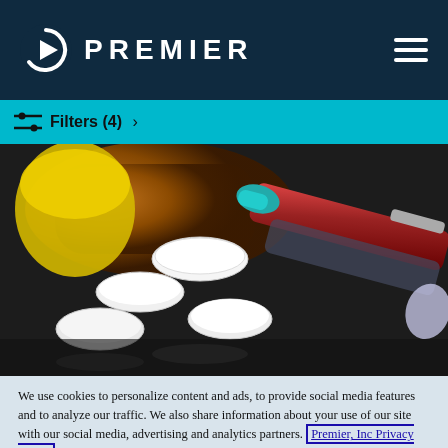PREMIER
Filters (4)  >
[Figure (photo): Prescription pill bottle tipped over with white tablets spilling out, alongside medical syringes on a dark background]
We use cookies to personalize content and ads, to provide social media features and to analyze our traffic. We also share information about your use of our site with our social media, advertising and analytics partners. Premier, Inc Privacy Policy